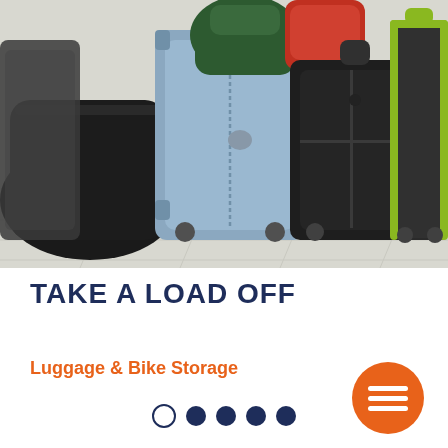[Figure (photo): A collection of various luggage bags including a blue hard-shell suitcase, black duffel bags, black roller suitcases, backpacks (green and red), and a green-trimmed suitcase, arranged together on a light floor]
TAKE A LOAD OFF
Luggage & Bike Storage
[Figure (other): Navigation dots: one empty circle followed by four filled dark blue circles, and an orange circular menu button with three horizontal white lines]